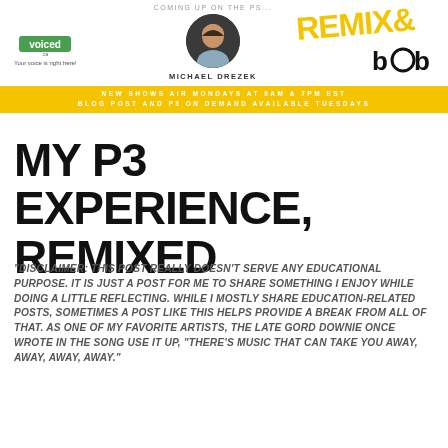[Figure (logo): voiced.ca logo with icon and tagline 'Your voice is right here!']
COMING UP ON THE PS...
[Figure (photo): Circular headshot photo of Michael Drezek]
MICHAEL DREZEK
[Figure (logo): REMIXED text in yellow at an angle]
[Figure (logo): BOB logo in black bold text]
NEW SHOWS AIR MONDAYS AT 8AM & 7PM EST
BLOG POST AND P3 ON DEMAND AVAILABLE TUESDAYS
MY P3 EXPERIENCE, REMIXED
"DISCLAIMER: THIS POST REALLY DOESN'T SERVE ANY EDUCATIONAL PURPOSE. IT IS JUST A POST FOR ME TO SHARE SOMETHING I ENJOY WHILE DOING A LITTLE REFLECTING. WHILE I MOSTLY SHARE EDUCATION-RELATED POSTS, SOMETIMES A POST LIKE THIS HELPS PROVIDE A BREAK FROM ALL OF THAT. AS ONE OF MY FAVORITE ARTISTS, THE LATE GORD DOWNIE ONCE WROTE IN THE SONG USE IT UP, "THERE'S MUSIC THAT CAN TAKE YOU AWAY, AWAY, AWAY, AWAY."